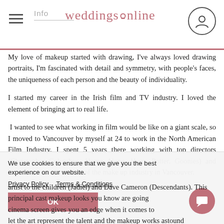Info | weddingsonline
My love of makeup started with drawing, I've always loved drawing portraits, I'm fascinated with detail and symmetry, with people's faces, the uniqueness of each person and the beauty of individuality.
I started my career in the Irish film and TV industry. I loved the element of bringing art to real life.
I wanted to see what working in film would be like on a giant scale, so I moved to Vancouver by myself at 24 to work in the North American Film Industry. I spent 5 years there working with top directors (Christopher Columbus- Home Alone, Harry Potter, Goonies) and became a trusted member of the make up industry in Vancouver.
My recent jobs in Vancouver entailed becoming a personal make-up artist to the children (Jadiel) and Dave Cameron (Descendants). This principal cast makeup looks you know are going to be on a cinema screen gives you an edge when it comes to let the art represent the talent and the makeup works astound
We use cookies to ensure that we give you the best experience on our website.
Privacy Policy   Terms & Conditions
OK